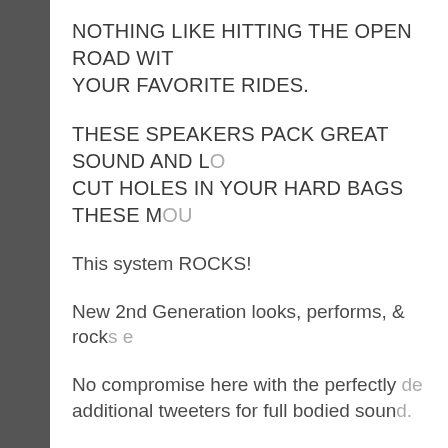NOTHING LIKE HITTING THE OPEN ROAD WITH YOUR FAVORITE RIDES.
THESE SPEAKERS PACK GREAT SOUND AND LO CUT HOLES IN YOUR HARD BAGS THESE MOU
This system ROCKS!
New 2nd Generation looks, performs, & rocks e
No compromise here with the perfectly de additional tweeters for full bodied sound.
The weatherproof bullet housing has pow amplifier & includes a volume & on/off con
Convenient swivel adjustment gives you th